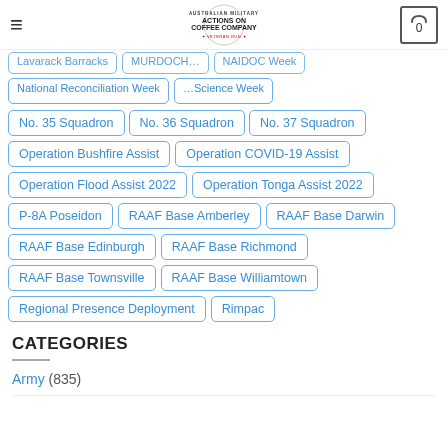Actions On Coffee Company — navigation bar with logo and cart
No. 35 Squadron
No. 36 Squadron
No. 37 Squadron
Operation Bushfire Assist
Operation COVID-19 Assist
Operation Flood Assist 2022
Operation Tonga Assist 2022
P-8A Poseidon
RAAF Base Amberley
RAAF Base Darwin
RAAF Base Edinburgh
RAAF Base Richmond
RAAF Base Townsville
RAAF Base Williamtown
Regional Presence Deployment
Rimpac
CATEGORIES
Army (835)